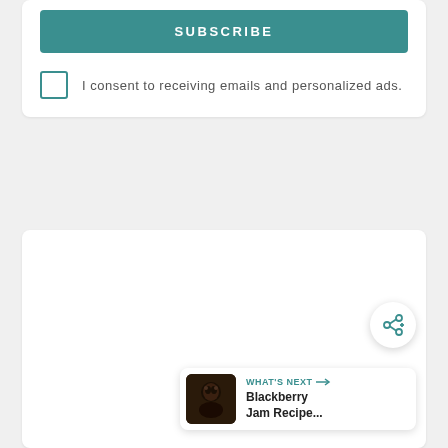SUBSCRIBE
I consent to receiving emails and personalized ads.
[Figure (other): Loading placeholder with three grey dots indicating content loading]
[Figure (other): Share button - circular white button with share/add icon in teal]
WHAT'S NEXT → Blackberry Jam Recipe...